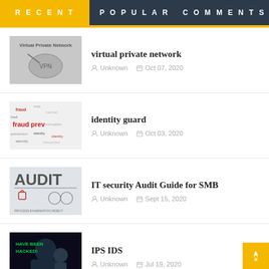RECENT | POPULAR | COMMENTS
virtual private network — Unknown — Oct 07, 2020
identity guard — Unknown — Oct 03, 2020
IT security Audit Guide for SMB — Unknown — Sept 15, 2020
IPS IDS — Unknown — Jul 19, 2020
Ethical Hacking — Unknown — Jul 15, 2020